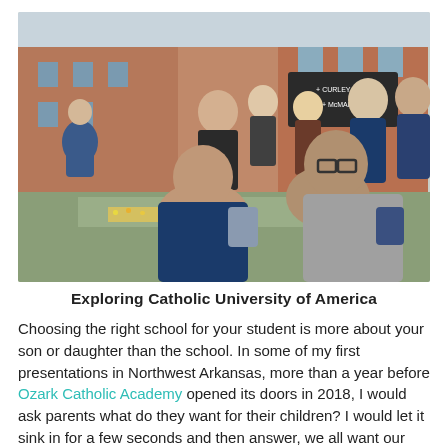[Figure (photo): Group of students and a teacher/guide standing outside on a campus path, with brick university buildings and directional signs (Curley Hall, McMahon) visible in the background. Students are wearing winter jackets and backpacks.]
Exploring Catholic University of America
Choosing the right school for your student is more about your son or daughter than the school. In some of my first presentations in Northwest Arkansas, more than a year before Ozark Catholic Academy opened its doors in 2018, I would ask parents what do they want for their children? I would let it sink in for a few seconds and then answer, we all want our children to be happy.